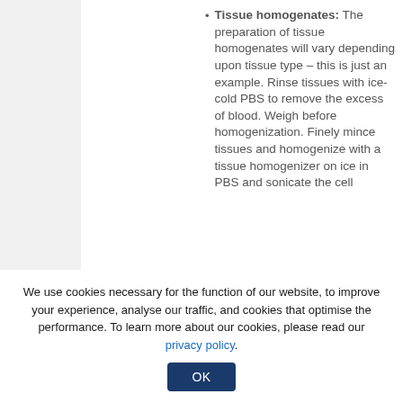Tissue homogenates: The preparation of tissue homogenates will vary depending upon tissue type – this is just an example. Rinse tissues with ice-cold PBS to remove the excess of blood. Weigh before homogenization. Finely mince tissues and homogenize with a tissue homogenizer on ice in PBS and sonicate the cell
We use cookies necessary for the function of our website, to improve your experience, analyse our traffic, and cookies that optimise the performance. To learn more about our cookies, please read our privacy policy.